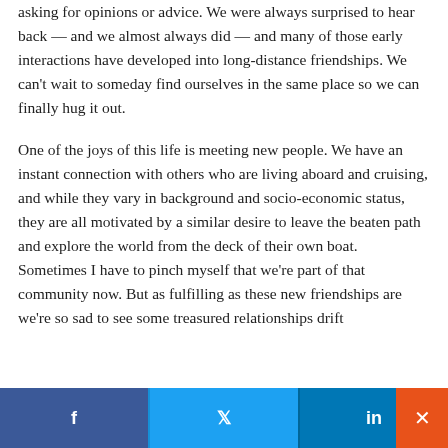asking for opinions or advice. We were always surprised to hear back — and we almost always did — and many of those early interactions have developed into long-distance friendships. We can't wait to someday find ourselves in the same place so we can finally hug it out.
One of the joys of this life is meeting new people. We have an instant connection with others who are living aboard and cruising, and while they vary in background and socio-economic status, they are all motivated by a similar desire to leave the beaten path and explore the world from the deck of their own boat. Sometimes I have to pinch myself that we're part of that community now. But as fulfilling as these new friendships are we're so sad to see some treasured relationships drift
f  t  in  ×